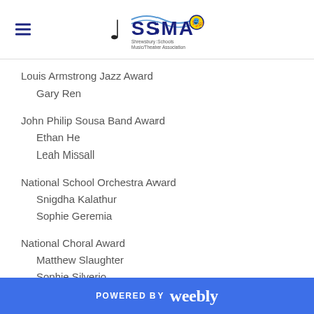SSMA Shrewsbury Schools Music/Theater Association
Louis Armstrong Jazz Award
Gary Ren
John Philip Sousa Band Award
Ethan He
Leah Missall
National School Orchestra Award
Snigdha Kalathur
Sophie Geremia
National Choral Award
Matthew Slaughter
Sophie Silverio
POWERED BY weebly